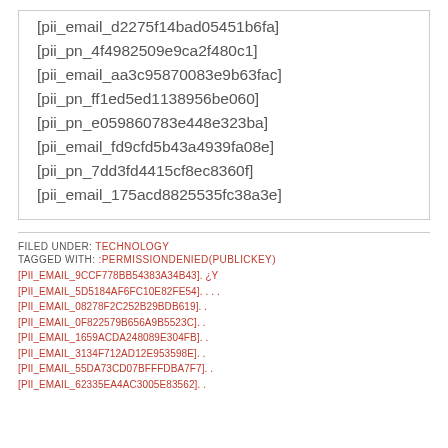[pii_email_d2275f14bad05451b6fa]
[pii_pn_4f4982509e9ca2f480c1]
[pii_email_aa3c95870083e9b63fac]
[pii_pn_ff1ed5ed1138956be060]
[pii_pn_e059860783e448e323ba]
[pii_email_fd9cfd5b43a4939fa08e]
[pii_pn_7dd3fd4415cf8ec8360f]
[pii_email_175acd8825535fc38a3e]
FILED UNDER: TECHNOLOGY
TAGGED WITH: :PERMISSIONDENIED(PUBLICKEY) [PII_EMAIL_9CCF778BB54383A34B43]. ¿Y [PII_EMAIL_5D5184AF6FC10E82FE54]. . . . [PII_EMAIL_08278F2C252B29BDB619]. . [PII_EMAIL_0F822579B656A9B5523C]. . [PII_EMAIL_1659ACDA248089E304FB]. . [PII_EMAIL_3134F712AD12E953598E]. . [PII_EMAIL_55DA73CD07BFFFDBA7F7]. . [PII_EMAIL_62335EA4AC3005E83562]. .